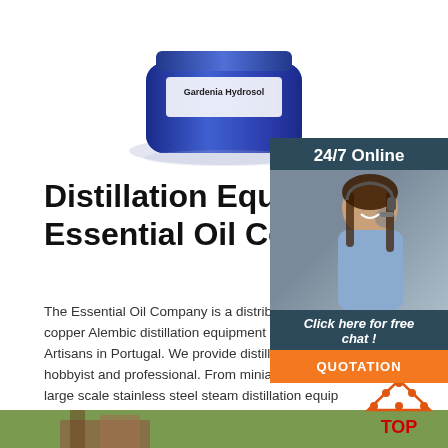[Figure (photo): Blue glass jar labeled 'Gardenia Hydrosol' on white background with reflection]
Distillation Equipment – The Essential Oil Company
The Essential Oil Company is a distributor of hand hammered copper Alembic distillation equipment manufactured by Artisans in Portugal. We provide distillation equipment for the hobbyist and professional. From miniature desktop stills to large scale stainless steel steam distillation equip...
[Figure (photo): Customer service woman with headset smiling, 24/7 Online chat widget with dark teal background and orange QUOTATION button]
[Figure (photo): Outdoor farm or garden scene with green grass and structures in background]
[Figure (logo): TOP badge with orange triangle/dots logo and red TOP text]